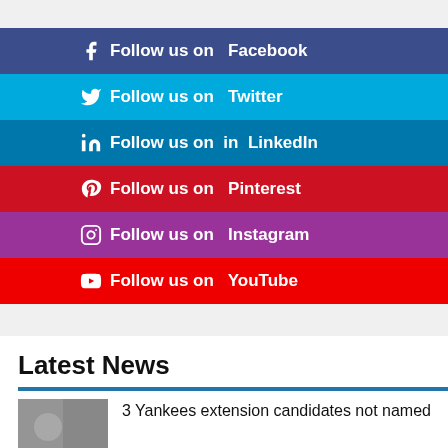Follow us on Facebook
Follow us on Twitter
Follow us on LinkedIn
Follow us on Pinterest
Follow us on Instagram
Follow us on YouTube
Latest News
3 Yankees extension candidates not named